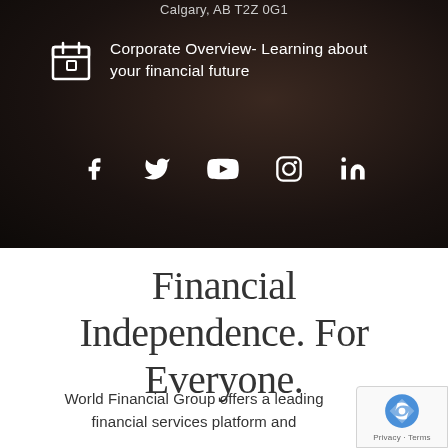Calgary, AB T2Z 0G1
Corporate Overview- Learning about your financial future
[Figure (infographic): Social media icons row: Facebook, Twitter, YouTube, Instagram, LinkedIn — white icons on dark background]
Financial Independence. For Everyone.
World Financial Group offers a leading financial services platform and